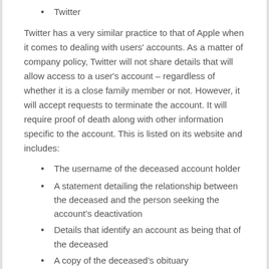Twitter
Twitter has a very similar practice to that of Apple when it comes to dealing with users' accounts. As a matter of company policy, Twitter will not share details that will allow access to a user's account – regardless of whether it is a close family member or not. However, it will accept requests to terminate the account. It will require proof of death along with other information specific to the account. This is listed on its website and includes:
The username of the deceased account holder
A statement detailing the relationship between the deceased and the person seeking the account's deactivation
Details that identify an account as being that of the deceased
A copy of the deceased's obituary
Google
Google operates a policy where relatives or friends of a